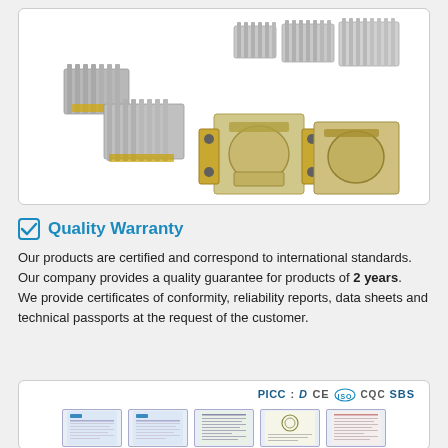[Figure (photo): Photo of various electronic components including aluminum heat sinks and relay/switch assemblies on white background]
☑ Quality Warranty
Our products are certified and correspond to international standards.
Our company provides a quality guarantee for products of 2 years.
We provide certificates of conformity, reliability reports, data sheets and technical passports at the request of the customer.
[Figure (photo): Certification logos (PICC, CE, ISO, CQC, SBS) and images of five certification documents/certificates]